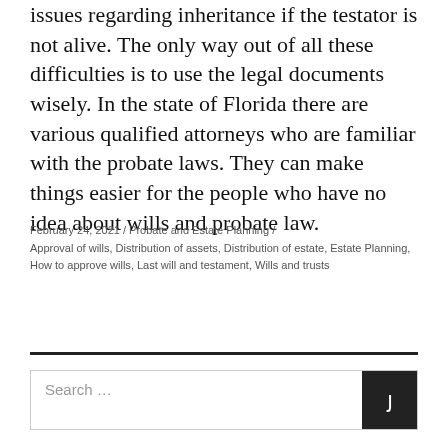issues regarding inheritance if the testator is not alive. The only way out of all these difficulties is to use the legal documents wisely. In the state of Florida there are various qualified attorneys who are familiar with the probate laws. They can make things easier for the people who have no idea about wills and probate law.
February 24, 2021 / Probate and Estate Planning / Approval of wills, Distribution of assets, Distribution of estate, Estate Planning, How to approve wills, Last will and testament, Wills and trusts
Search ...